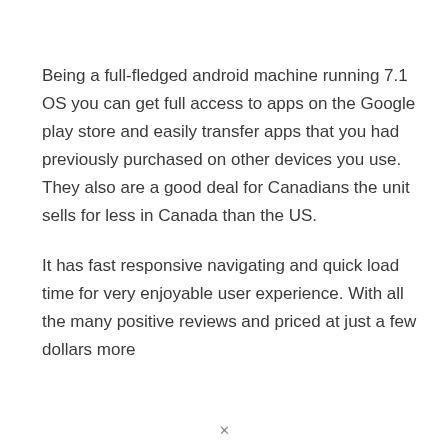Being a full-fledged android machine running 7.1 OS you can get full access to apps on the Google play store and easily transfer apps that you had previously purchased on other devices you use. They also are a good deal for Canadians the unit sells for less in Canada than the US.
It has fast responsive navigating and quick load time for very enjoyable user experience. With all the many positive reviews and priced at just a few dollars more